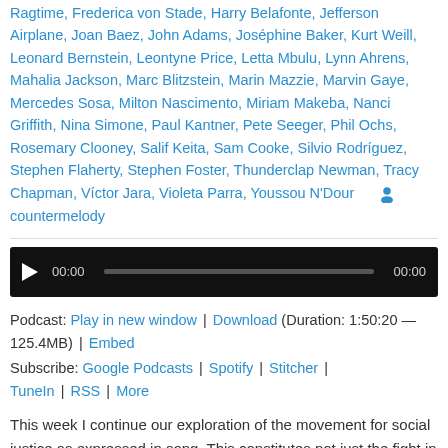Ragtime, Frederica von Stade, Harry Belafonte, Jefferson Airplane, Joan Baez, John Adams, Joséphine Baker, Kurt Weill, Leonard Bernstein, Leontyne Price, Letta Mbulu, Lynn Ahrens, Mahalia Jackson, Marc Blitzstein, Marin Mazzie, Marvin Gaye, Mercedes Sosa, Milton Nascimento, Miriam Makeba, Nanci Griffith, Nina Simone, Paul Kantner, Pete Seeger, Phil Ochs, Rosemary Clooney, Salif Keita, Sam Cooke, Silvio Rodríguez, Stephen Flaherty, Stephen Foster, Thunderclap Newman, Tracy Chapman, Víctor Jara, Violeta Parra, Youssou N'Dour  [icon] countermelody
[Figure (other): Audio player widget with play button, time display 00:00, progress bar, and end time 00:00 on dark background]
Podcast: Play in new window | Download (Duration: 1:50:20 — 125.4MB) | Embed
Subscribe: Google Podcasts | Spotify | Stitcher | TuneIn | RSS | More
This week I continue our exploration of the movement for social justice as expressed in song. This constitutes not just the fight in the United